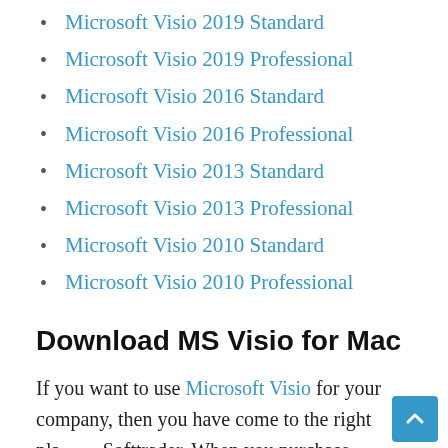Microsoft Visio 2019 Standard
Microsoft Visio 2019 Professional
Microsoft Visio 2016 Standard
Microsoft Visio 2016 Professional
Microsoft Visio 2013 Standard
Microsoft Visio 2013 Professional
Microsoft Visio 2010 Standard
Microsoft Visio 2010 Professional
Download MS Visio for Mac
If you want to use Microsoft Visio for your company, then you have come to the right place at Softtrader. When you purchase Microsoft Visio licenses, you will receive the necessary documents